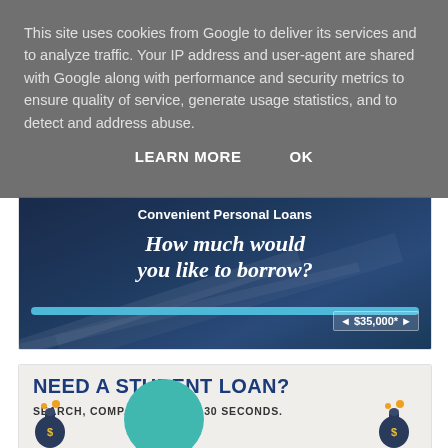This site uses cookies from Google to deliver its services and to analyze traffic. Your IP address and user-agent are shared with Google along with performance and security metrics to ensure quality of service, generate usage statistics, and to detect and address abuse.
LEARN MORE   OK
[Figure (infographic): Advertisement banner for Convenient Personal Loans with dark blue background. Shows bold italic text 'How much would you like to borrow?' with a slider bar showing $35,000*]
[Figure (infographic): Advertisement banner with light gray background. Text reads 'NEED A STUDENT LOAN?' in dark blue bold, 'SEARCH, COMPARE, APPLY. 30 SECONDS.' with two money bag illustrations and a teal circle graphic.]